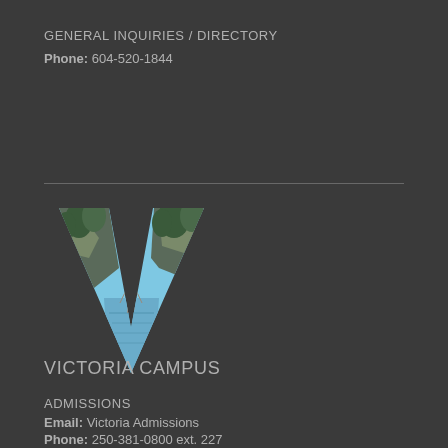GENERAL INQUIRIES / DIRECTORY
Phone: 604-520-1844
[Figure (logo): Large letter V logo with a scenic nature/landscape photograph clipped inside the V shape, showing trees, water, and sky]
VICTORIA CAMPUS
ADMISSIONS
Email: Victoria Admissions
Phone: 250-381-0800 ext. 227